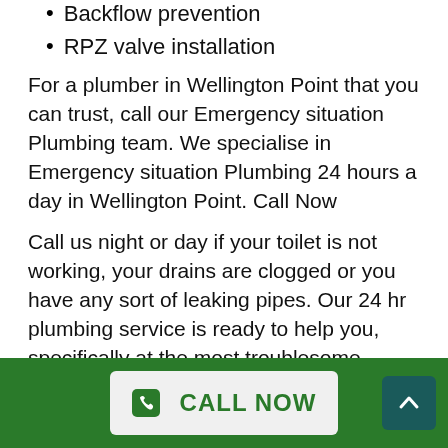Backflow prevention
RPZ valve installation
For a plumber in Wellington Point that you can trust, call our Emergency situation Plumbing team. We specialise in Emergency situation Plumbing 24 hours a day in Wellington Point. Call Now
Call us night or day if your toilet is not working, your drains are clogged or you have any sort of leaking pipes. Our 24 hr plumbing service is ready to help you, specifically at the most troublesome times!
Everything You Have To Know About Finding Local Plumbing In Wellington Point
Our professional local plumbing technicians in Wellington Point can assist with a variety of pipes
CALL NOW